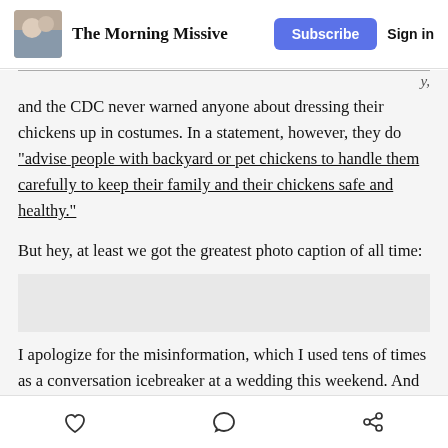The Morning Missive — Subscribe | Sign in
and the CDC never warned anyone about dressing their chickens up in costumes. In a statement, however, they do “advise people with backyard or pet chickens to handle them carefully to keep their family and their chickens safe and healthy.”
But hey, at least we got the greatest photo caption of all time:
[Figure (other): Gray placeholder box representing an image with a photo caption]
I apologize for the misinformation, which I used tens of times as a conversation icebreaker at a wedding this weekend. And remember: “The CDC warns against
Heart / Comment / Share icons